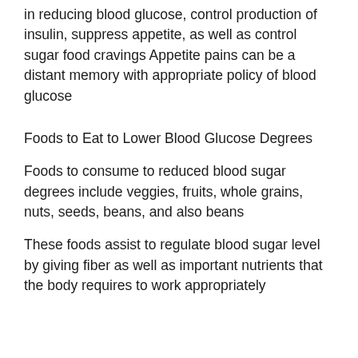in reducing blood glucose, control production of insulin, suppress appetite, as well as control sugar food cravings Appetite pains can be a distant memory with appropriate policy of blood glucose
Foods to Eat to Lower Blood Glucose Degrees
Foods to consume to reduced blood sugar degrees include veggies, fruits, whole grains, nuts, seeds, beans, and also beans
These foods assist to regulate blood sugar level by giving fiber as well as important nutrients that the body requires to work appropriately